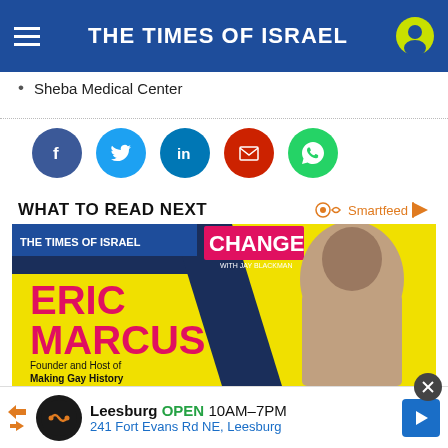THE TIMES OF ISRAEL
Sheba Medical Center
[Figure (infographic): Social share buttons: Facebook, Twitter, LinkedIn, Email, WhatsApp]
WHAT TO READ NEXT
[Figure (photo): Times of Israel article card featuring Eric Marcus, Founder and Host of Making Gay History, with CHANGE branding on yellow background]
[Figure (infographic): Advertisement bar: Leesburg OPEN 10AM-7PM, 241 Fort Evans Rd NE, Leesburg with navigation arrow]